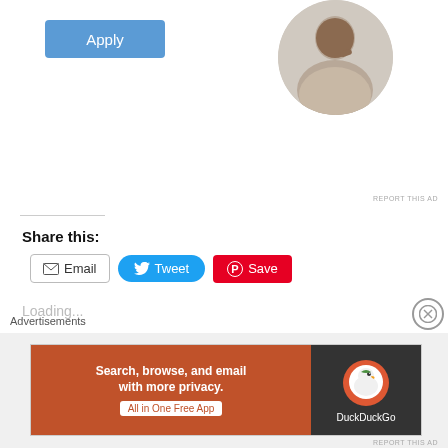[Figure (other): Blue Apply button and circular profile photo of a man at a desk]
REPORT THIS AD
Share this:
[Figure (other): Share buttons: Email, Tweet, Save]
Loading...
Related
The Terror Of "The Bug"!
September 11, 2020
Is a Coronavirus “Breakthrough” on its way?
Advertisements
[Figure (other): DuckDuckGo advertisement banner: Search, browse, and email with more privacy. All in One Free App]
REPORT THIS AD